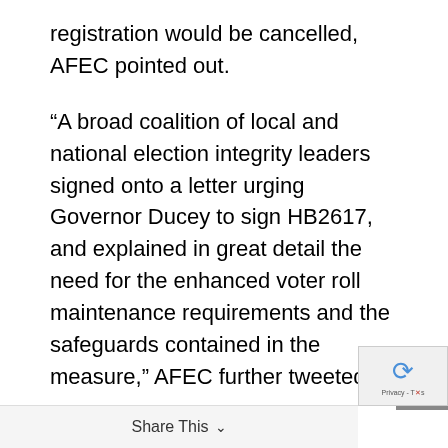registration would be cancelled, AFEC pointed out.
“A broad coalition of local and national election integrity leaders signed onto a letter urging Governor Ducey to sign HB2617, and explained in great detail the need for the enhanced voter roll maintenance requirements and the safeguards contained in the measure,” AFEC further tweeted.
The letter referred to by in the tweet was signed by AFEC President Scot Mussi along with representatives of Heritage Action for America, America First Policy Institute, Election Transparency Initiative, Honest